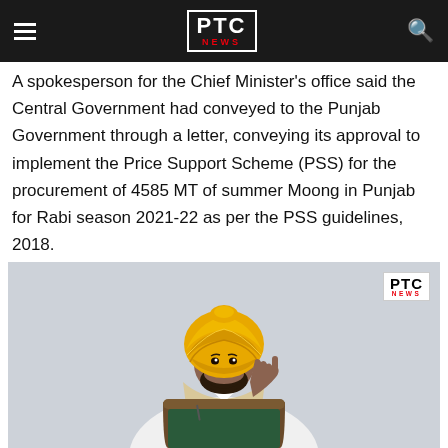PTC NEWS
A spokesperson for the Chief Minister’s office said the Central Government had conveyed to the Punjab Government through a letter, conveying its approval to implement the Price Support Scheme (PSS) for the procurement of 4585 MT of summer Moong in Punjab for Rabi season 2021-22 as per the PSS guidelines, 2018.
[Figure (photo): A man wearing a yellow turban and a light beige vest sits in a wooden chair and gestures with one finger raised, against a light grey background. A PTC NEWS watermark is visible in the top right corner.]